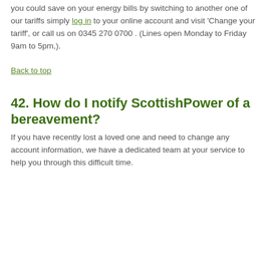you could save on your energy bills by switching to another one of our tariffs simply log in to your online account and visit 'Change your tariff', or call us on 0345 270 0700 . (Lines open Monday to Friday 9am to 5pm,).
Back to top
42. How do I notify ScottishPower of a bereavement?
If you have recently lost a loved one and need to change any account information, we have a dedicated team at your service to help you through this difficult time.